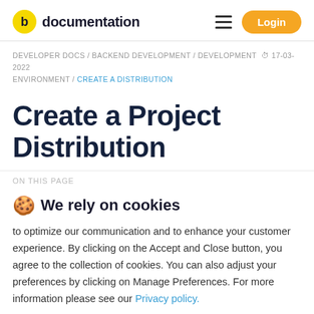documentation  Login
DEVELOPER DOCS / BACKEND DEVELOPMENT / DEVELOPMENT  17-03-2022 ENVIRONMENT / CREATE A DISTRIBUTION
Create a Project Distribution
ON THIS PAGE
🍪 We rely on cookies
to optimize our communication and to enhance your customer experience. By clicking on the Accept and Close button, you agree to the collection of cookies. You can also adjust your preferences by clicking on Manage Preferences. For more information please see our Privacy policy.